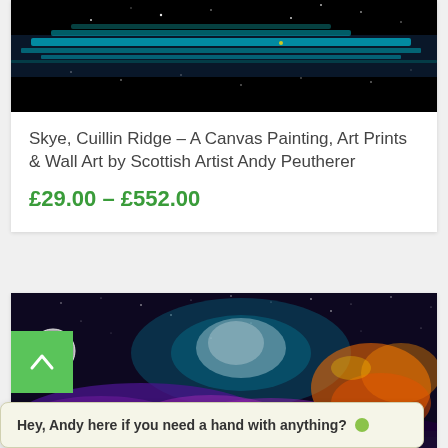[Figure (photo): Painting of Skye Cuillin Ridge — dark panoramic landscape with blue and teal reflective water, starry night, black background]
Skye, Cuillin Ridge – A Canvas Painting, Art Prints & Wall Art by Scottish Artist Andy Peutherer
£29.00 – £552.00
[Figure (photo): Colorful space/galaxy landscape painting — purple mountains, brilliant teal and white nebula clouds, orange and red forms, moon visible on left, starry night sky]
Hey, Andy here if you need a hand with anything? 🟢